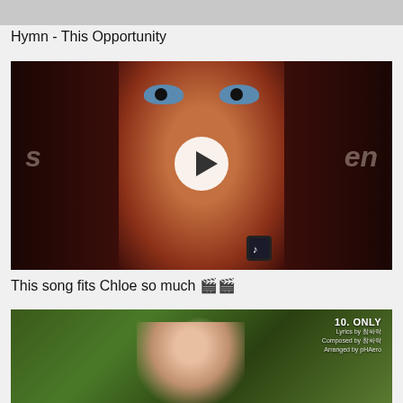[Figure (screenshot): Partial gray thumbnail image at top, cropped]
Hymn - This Opportunity
[Figure (screenshot): Video thumbnail showing animated character Chloe close-up with play button overlay, TikTok-style video]
This song fits Chloe so much 🎬🎬
[Figure (screenshot): Music video thumbnail showing a person outdoors with bokeh background, text overlay reading '10. ONLY' with credits]